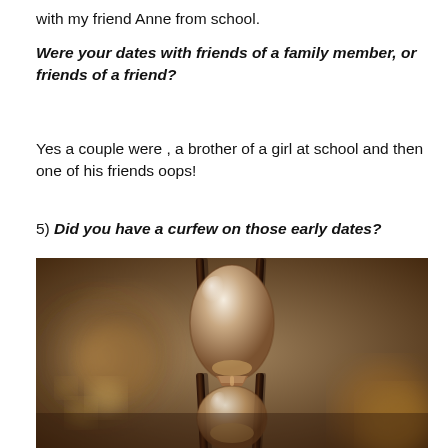with my friend Anne from school.
Were your dates with friends of a family member, or friends of a friend?
Yes a couple were , a brother of a girl at school and then one of his friends oops!
5) Did you have a curfew on those early dates?
[Figure (photo): Close-up photograph of an hourglass with sepia/warm brown tones, showing the glass bulb and wooden frame, with blurred clock faces visible in the background.]